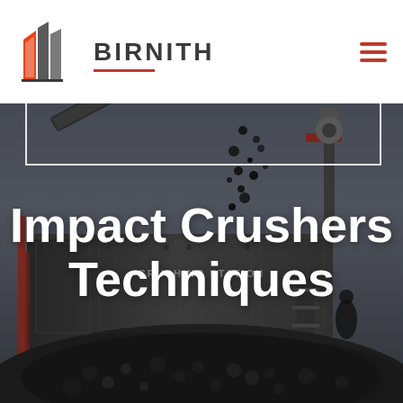[Figure (photo): Industrial crushing station machine with conveyor belts and large pile of crushed rock/aggregate material in foreground, dark moody sky background]
BIRNITH
Impact Crushers Techniques